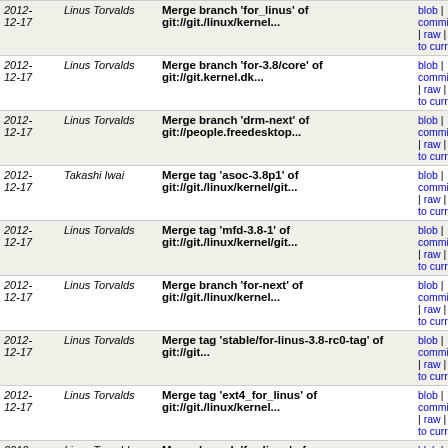| Date | Author | Message | Links |
| --- | --- | --- | --- |
| 2012-12-17 | Linus Torvalds | Merge branch 'for_linus' of git://git./linux/kernel... | blob | commitdiff | raw | diff to current |
| 2012-12-17 | Linus Torvalds | Merge branch 'for-3.8/core' of git://git.kernel.dk... | blob | commitdiff | raw | diff to current |
| 2012-12-17 | Linus Torvalds | Merge branch 'drm-next' of git://people.freedesktop... | blob | commitdiff | raw | diff to current |
| 2012-12-17 | Takashi Iwai | Merge tag 'asoc-3.8p1' of git://git./linux/kernel/git... | blob | commitdiff | raw | diff to current |
| 2012-12-17 | Linus Torvalds | Merge tag 'mfd-3.8-1' of git://git./linux/kernel/git... | blob | commitdiff | raw | diff to current |
| 2012-12-17 | Linus Torvalds | Merge branch 'for-next' of git://git./linux/kernel... | blob | commitdiff | raw | diff to current |
| 2012-12-17 | Linus Torvalds | Merge tag 'stable/for-linus-3.8-rc0-tag' of git://git... | blob | commitdiff | raw | diff to current |
| 2012-12-17 | Linus Torvalds | Merge tag 'ext4_for_linus' of git://git./linux/kernel... | blob | commitdiff | raw | diff to current |
| 2012-12-16 | Linus Torvalds | Merge branch 'for-linus' of git://git./linux/kernel... | blob | commitdiff | raw | diff to current |
| 2012-12-16 | Linus Torvalds | Merge tag 'balancenuma-v11' of git://git./linux/kernel... | blob | commitdiff | raw | diff to current |
| 2012- | Tony Lindgren | Merge branch 'omap-for-v3.8/fixes-for-... | blob |